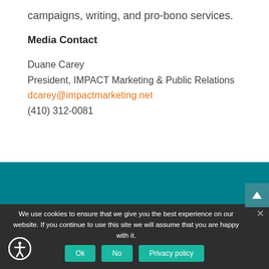campaigns, writing, and pro-bono services.
Media Contact
Duane Carey
President, IMPACT Marketing & Public Relations
dcarey@impactmarketing.net
(410) 312-0081
[Figure (other): Teal footer band]
We use cookies to ensure that we give you the best experience on our website. If you continue to use this site we will assume that you are happy with it.
Ok   No   Privacy policy